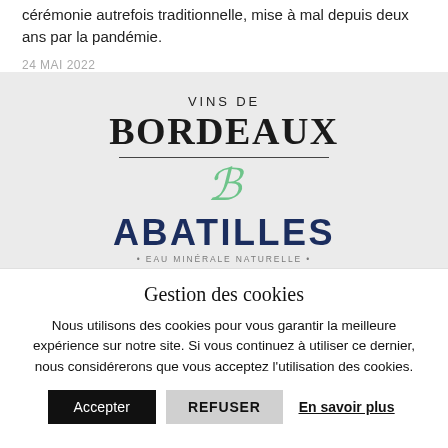cérémonie autrefois traditionnelle, mise à mal depuis deux ans par la pandémie.
24 MAI 2022
[Figure (logo): Vins de Bordeaux logo with stylized script B in green]
[Figure (logo): ABATILLES - Eau Minérale Naturelle - logo in dark navy]
Gestion des cookies
Nous utilisons des cookies pour vous garantir la meilleure expérience sur notre site. Si vous continuez à utiliser ce dernier, nous considérerons que vous acceptez l'utilisation des cookies.
Accepter | REFUSER | En savoir plus